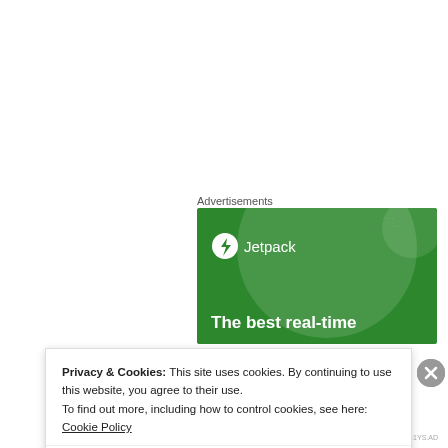Advertisements
[Figure (illustration): Jetpack advertisement banner with green background, circular shapes, Jetpack logo with lightning bolt icon, and text 'The best real-time']
[Figure (photo): Round avatar photo of Michelle Abbott, a woman with sunglasses outdoors]
Michelle Abbott
Privacy & Cookies: This site uses cookies. By continuing to use this website, you agree to their use.
To find out more, including how to control cookies, see here: Cookie Policy
Close and accept